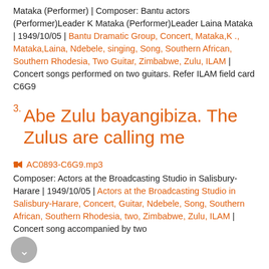Mataka (Performer) | Composer: Bantu actors (Performer)Leader K Mataka (Performer)Leader Laina Mataka | 1949/10/05 | Bantu Dramatic Group, Concert, Mataka,K ., Mataka,Laina, Ndebele, singing, Song, Southern African, Southern Rhodesia, Two Guitar, Zimbabwe, Zulu, ILAM | Concert songs performed on two guitars. Refer ILAM field card C6G9
3. Abe Zulu bayangibiza. The Zulus are calling me
AC0893-C6G9.mp3
Composer: Actors at the Broadcasting Studio in Salisbury-Harare | 1949/10/05 | Actors at the Broadcasting Studio in Salisbury-Harare, Concert, Guitar, Ndebele, Song, Southern African, Southern Rhodesia, two, Zimbabwe, Zulu, ILAM | Concert song accompanied by two